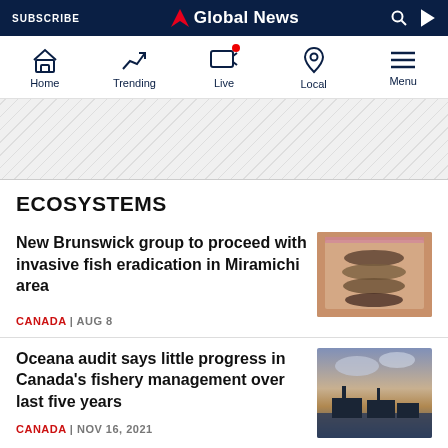SUBSCRIBE | Global News
[Figure (screenshot): Navigation bar with icons: Home, Trending, Live, Local, Menu]
[Figure (other): Advertisement banner with diagonal stripe pattern]
ECOSYSTEMS
New Brunswick group to proceed with invasive fish eradication in Miramichi area
CANADA | AUG 8
[Figure (photo): Packaged fish in a pink/clear plastic tray]
Oceana audit says little progress in Canada's fishery management over last five years
CANADA | NOV 16, 2021
[Figure (photo): Fishing boats silhouetted against a sunset sky]